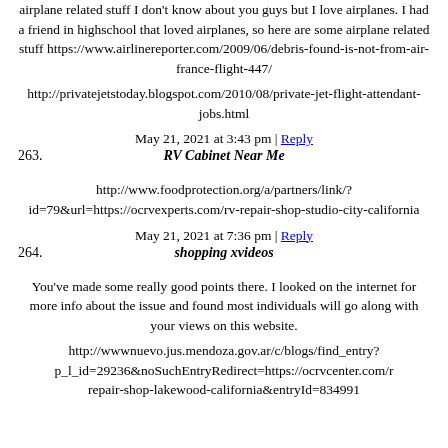airplane related stuff I don't know about you guys but I love airplanes. I had a friend in highschool that loved airplanes, so here are some airplane related stuff https://www.airlinereporter.com/2009/06/debris-found-is-not-from-air-france-flight-447/
http://privatejetstoday.blogspot.com/2010/08/private-jet-flight-attendant-jobs.html
May 21, 2021 at 3:43 pm | Reply
263. RV Cabinet Near Me
http://www.foodprotection.org/a/partners/link/?id=79&url=https://ocrvexperts.com/rv-repair-shop-studio-city-california
May 21, 2021 at 7:36 pm | Reply
264. shopping xvideos
You've made some really good points there. I looked on the internet for more info about the issue and found most individuals will go along with your views on this website.
http://wwwnuevo.jus.mendoza.gov.ar/c/blogs/find_entry?p_l_id=29236&noSuchEntryRedirect=https://ocrvcenter.com/rv-repair-shop-lakewood-california&entryId=834991